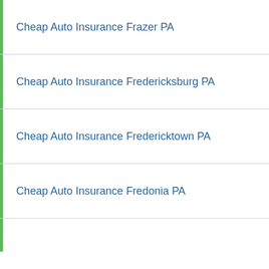Cheap Auto Insurance Frazer PA
Cheap Auto Insurance Fredericksburg PA
Cheap Auto Insurance Fredericktown PA
Cheap Auto Insurance Fredonia PA